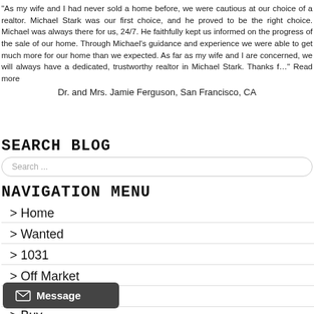"As my wife and I had never sold a home before, we were cautious at our choice of a realtor. Michael Stark was our first choice, and he proved to be the right choice. Michael was always there for us, 24/7. He faithfully kept us informed on the progress of the sale of our home. Through Michael's guidance and experience we were able to get much more for our home than we expected. As far as my wife and I are concerned, we will always have a dedicated, trustworthy realtor in Michael Stark. Thanks f..." Read more
Dr. and Mrs. Jamie Ferguson, San Francisco, CA
SEARCH BLOG
Search ...
NAVIGATION MENU
> Home
> Wanted
> 1031
> Off Market
> Sell
> Buy